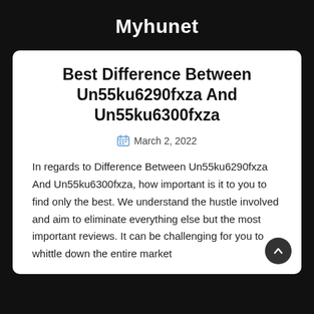Myhunet
Best Difference Between Un55ku6290fxza And Un55ku6300fxza
March 2, 2022
In regards to Difference Between Un55ku6290fxza And Un55ku6300fxza, how important is it to you to find only the best. We understand the hustle involved and aim to eliminate everything else but the most important reviews. It can be challenging for you to whittle down the entire market